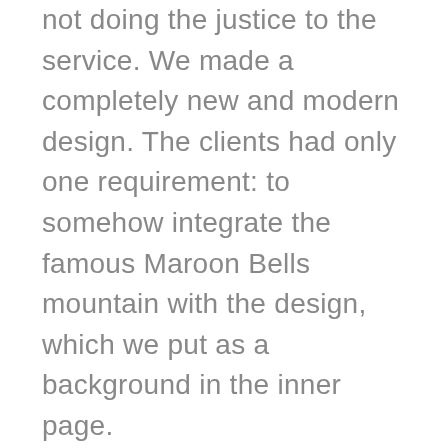not doing the justice to the service. We made a completely new and modern design. The clients had only one requirement: to somehow integrate the famous Maroon Bells mountain with the design, which we put as a background in the inner page.